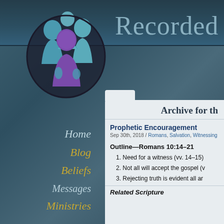[Figure (logo): Church ministry logo: abstract stylized figures in purple and teal forming a group/community symbol]
Recorded
Home
Blog
Beliefs
Messages
Ministries
Archive for th
Prophetic Encouragement
Sep 30th, 2018 / Romans, Salvation, Witnessing
Outline—Romans 10:14–21
1. Need for a witness (vv. 14–15)
2. Not all will accept the gospel (v
3. Rejecting truth is evident all ar
Related Scripture